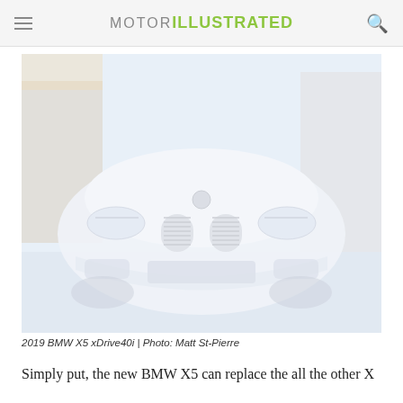MOTOR ILLUSTRATED
[Figure (photo): Front view of a 2019 BMW X5 xDrive40i, white SUV, photographed from a low frontal angle showing the distinctive kidney grille and headlights]
2019 BMW X5 xDrive40i | Photo: Matt St-Pierre
Simply put, the new BMW X5 can replace the all the other X